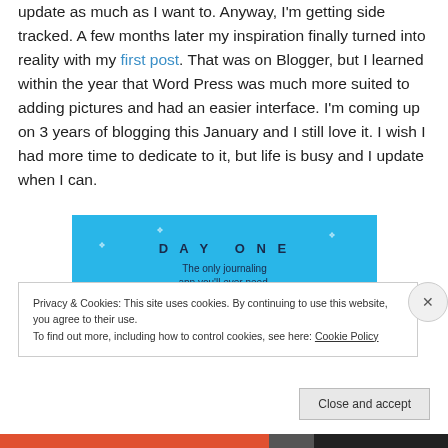update as much as I want to. Anyway, I'm getting side tracked. A few months later my inspiration finally turned into reality with my first post. That was on Blogger, but I learned within the year that Word Press was much more suited to adding pictures and had an easier interface. I'm coming up on 3 years of blogging this January and I still love it. I wish I had more time to dedicate to it, but life is busy and I update when I can.
[Figure (other): DAY ONE app advertisement banner with blue background and star decorations. Text reads 'DAY ONE' and 'The only journaling app you'll ever need.']
Privacy & Cookies: This site uses cookies. By continuing to use this website, you agree to their use.
To find out more, including how to control cookies, see here: Cookie Policy
Close and accept